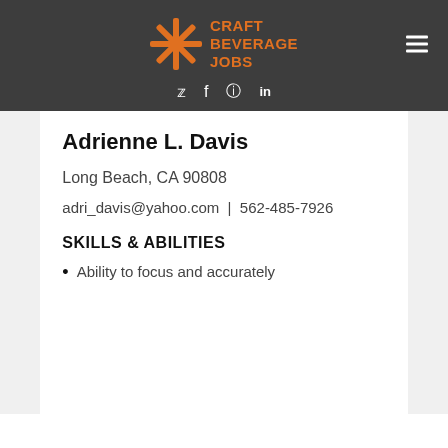[Figure (logo): Craft Beverage Jobs logo with orange starburst/asterisk icon and orange text on dark gray header background, with social media icons (Twitter, Facebook, Instagram, LinkedIn) below]
Adrienne L. Davis
Long Beach, CA 90808
adri_davis@yahoo.com | 562-485-7926
SKILLS & ABILITIES
Ability to focus and accurately